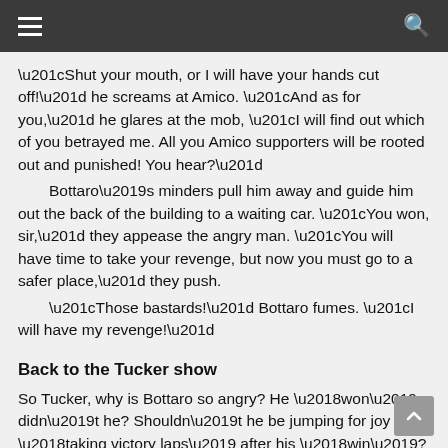≡  🔍
“Shut your mouth, or I will have your hands cut off!” he screams at Amico. “And as for you,” he glares at the mob, “I will find out which of you betrayed me. All you Amico supporters will be rooted out and punished! You hear?”
   Bottaro’s minders pull him away and guide him out the back of the building to a waiting car. “You won, sir,” they appease the angry man. “You will have time to take your revenge, but now you must go to a safer place,” they push.
   “Those bastards!” Bottaro fumes. “I will have my revenge!”
Back to the Tucker show
So Tucker, why is Bottaro so angry? He ‘won’ didn’t he? Shouldn’t he be jumping for joy and ‘taking victory laps’ after his ‘win’?
No, the gangster is angry because he is aware he DID NOT win.